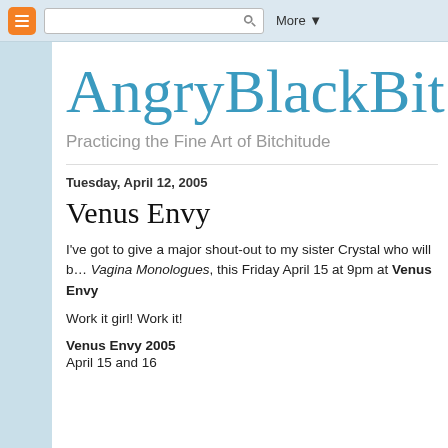Blogger browser bar with search and More button
AngryBlackBit
Practicing the Fine Art of Bitchitude
Tuesday, April 12, 2005
Venus Envy
I've got to give a major shout-out to my sister Crystal who will b… Vagina Monologues, this Friday April 15 at 9pm at Venus Envy
Work it girl! Work it!
Venus Envy 2005
April 15 and 16